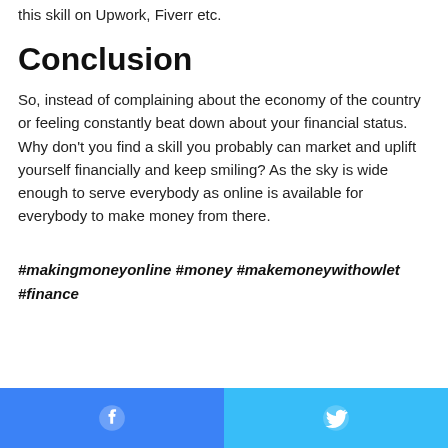this skill on Upwork, Fiverr etc.
Conclusion
So, instead of complaining about the economy of the country or feeling constantly beat down about your financial status. Why don't you find a skill you probably can market and uplift yourself financially and keep smiling? As the sky is wide enough to serve everybody as online is available for everybody to make money from there.
#makingmoneyonline #money #makemoneywithowlet #finance
Facebook | Twitter